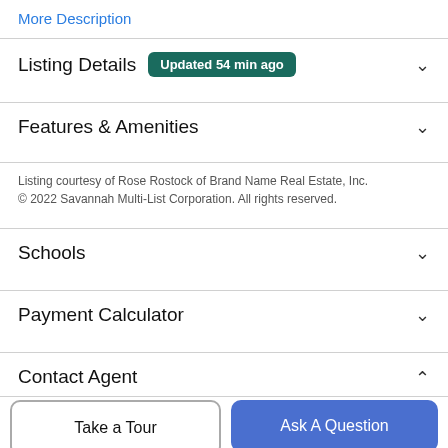More Description
Listing Details  Updated 54 min ago
Features & Amenities
Listing courtesy of Rose Rostock of Brand Name Real Estate, Inc. © 2022 Savannah Multi-List Corporation. All rights reserved.
Schools
Payment Calculator
Contact Agent
Take a Tour
Ask A Question